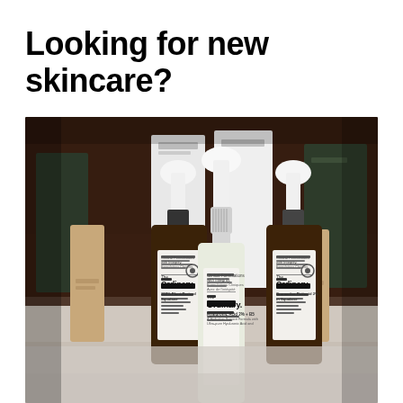Looking for new skincare?
[Figure (photo): A flat-lay/tabletop photo showing multiple The Ordinary skincare product bottles with white dropper tops and dark amber glass bottles with white labels. The labels read 'The Ordinary.' with product names including 'Hyaluronic Acid 2% + B5', '100% Plant-Derived Squalane', and 'Granactive Retinoid 2% in Squalane'. White and dark green product boxes are visible in the background.]